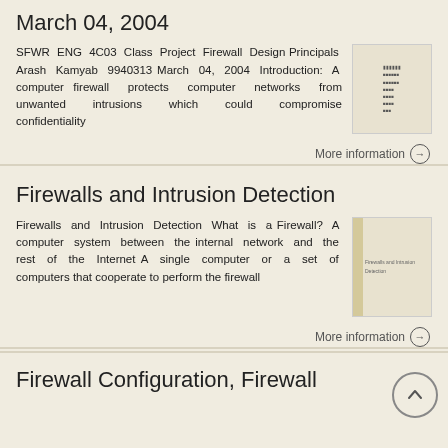March 04, 2004
SFWR ENG 4C03 Class Project Firewall Design Principals Arash Kamyab 9940313 March 04, 2004 Introduction: A computer firewall protects computer networks from unwanted intrusions which could compromise confidentiality
[Figure (screenshot): Thumbnail of document page with small text]
More information →
Firewalls and Intrusion Detection
Firewalls and Intrusion Detection What is a Firewall? A computer system between the internal network and the rest of the Internet A single computer or a set of computers that cooperate to perform the firewall
[Figure (screenshot): Thumbnail of Firewalls and Intrusion Detection document with yellow/tan stripe on left]
More information →
Firewall Configuration, Firewall